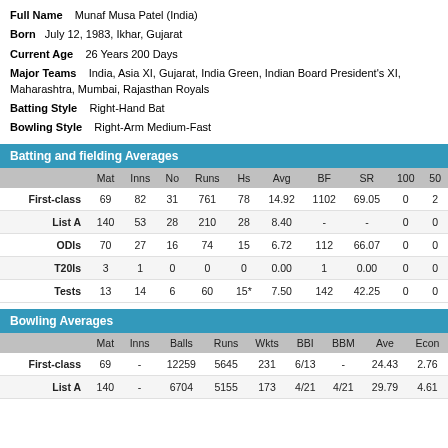Full Name   Munaf Musa Patel (India)
Born   July 12, 1983, Ikhar, Gujarat
Current Age   26 Years 200 Days
Major Teams   India, Asia XI, Gujarat, India Green, Indian Board President's XI, Maharashtra, Mumbai, Rajasthan Royals
Batting Style   Right-Hand Bat
Bowling Style   Right-Arm Medium-Fast
Batting and fielding Averages
|  | Mat | Inns | No | Runs | Hs | Avg | BF | SR | 100 | 50 |
| --- | --- | --- | --- | --- | --- | --- | --- | --- | --- | --- |
| First-class | 69 | 82 | 31 | 761 | 78 | 14.92 | 1102 | 69.05 | 0 | 2 |
| List A | 140 | 53 | 28 | 210 | 28 | 8.40 | - | - | 0 | 0 |
| ODIs | 70 | 27 | 16 | 74 | 15 | 6.72 | 112 | 66.07 | 0 | 0 |
| T20Is | 3 | 1 | 0 | 0 | 0 | 0.00 | 1 | 0.00 | 0 | 0 |
| Tests | 13 | 14 | 6 | 60 | 15* | 7.50 | 142 | 42.25 | 0 | 0 |
Bowling Averages
|  | Mat | Inns | Balls | Runs | Wkts | BBI | BBM | Ave | Econ |
| --- | --- | --- | --- | --- | --- | --- | --- | --- | --- |
| First-class | 69 | - | 12259 | 5645 | 231 | 6/13 | - | 24.43 | 2.76 |
| List A | 140 | - | 6704 | 5155 | 173 | 4/21 | 4/21 | 29.79 | 4.61 |